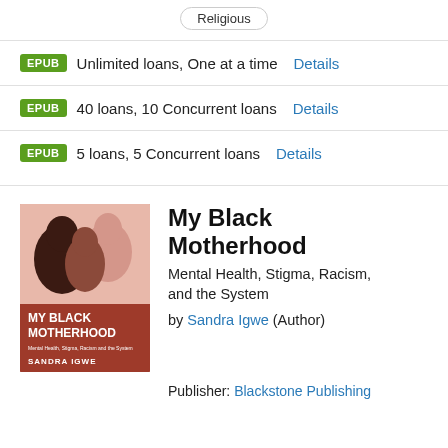Religious
EPUB  Unlimited loans, One at a time  Details
EPUB  40 loans, 10 Concurrent loans  Details
EPUB  5 loans, 5 Concurrent loans  Details
[Figure (photo): Book cover of 'My Black Motherhood' by Sandra Igwe, showing illustrated figures of Black women on a pink and brown background]
My Black Motherhood
Mental Health, Stigma, Racism, and the System
by Sandra Igwe (Author)
Publisher: Blackstone Publishing